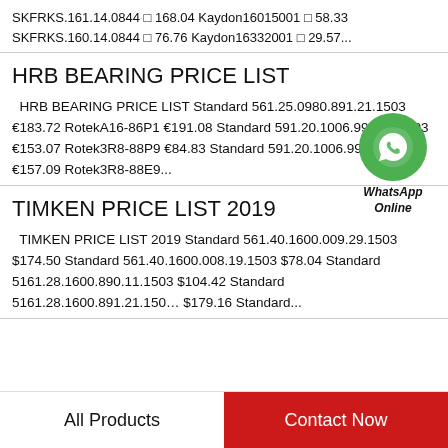SKFRKS.161.14.0844 □ 168.04 Kaydon16015001 □ 58.33 SKFRKS.160.14.0844 □ 76.76 Kaydon16332001 □ 29.57...
HRB BEARING PRICE LIST
HRB BEARING PRICE LIST Standard 561.25.0980.891.21.1503 €183.72 RotekA16-86P1 €191.08 Standard 591.20.1006.990.11.1503 €153.07 Rotek3R8-88P9 €84.83 Standard 591.20.1006.991.21.1503 €157.09 Rotek3R8-88E9...
[Figure (logo): WhatsApp Online green circle phone icon with text WhatsApp Online]
TIMKEN PRICE LIST 2019
TIMKEN PRICE LIST 2019 Standard 561.40.1600.009.29.1503 $174.50 Standard 561.40.1600.008.19.1503 $78.04 Standard 5161.28.1600.890.11.1503 $104.42 Standard 5161.28.1600.891.21.1503 $179.16 Standard...
All Products  Contact Now